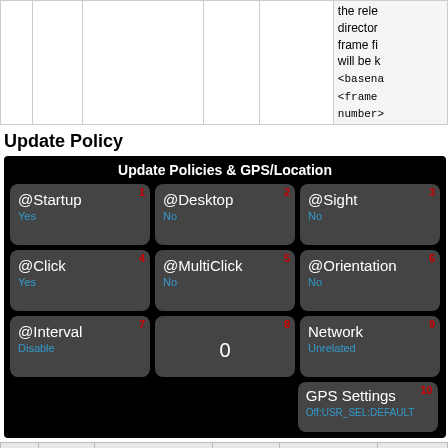|  |  |  |  |  | Description |
| --- | --- | --- | --- | --- | --- |
|  |  |  |  |  | the rele
director
frame fi
will be k
<basena
<frame
number> |
Update Policy
[Figure (screenshot): Update Policies & GPS/Location screenshot showing 10 buttons: @Startup (Yes), @Desktop (No), @Sight (No), @Click (Yes), @MultiClick (No), @Orientation (No), @Interval (Disable), 0, Network (Unrelated), GPS Settings (Off:USR_SEL:DEFAULT)]
| Ref # | Release | Parameter | Type | Possible Values | Description |
| --- | --- | --- | --- | --- | --- |
| 1 | 0.1.0 | updOnStartup | boolean | true|false | Update po which def widget mu updated o system St or on wid Wakeup. |